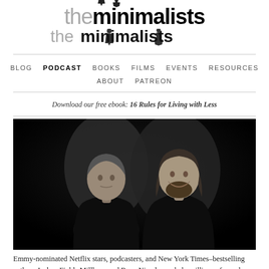[Figure (logo): The Minimalists logo with two silhouette figures above the text 'theminimalists', where 'the' is in gray and 'minimalists' is in bold black with a stylized person icon replacing the 'i']
BLOG  PODCAST  BOOKS  FILMS  EVENTS  RESOURCES  ABOUT  PATREON
Download our free ebook: 16 Rules for Living with Less
[Figure (photo): Black and white photo of two men against a dark background. The man on the left has short hair and a serious expression. The man on the right has longer hair and a beard, smiling.]
Emmy-nominated Netflix stars, podcasters, and New York Times-bestselling authors Joshua Fields Millburn and Ryan Nicodemus help millions of people live meaningfully with less. The Minimalists have